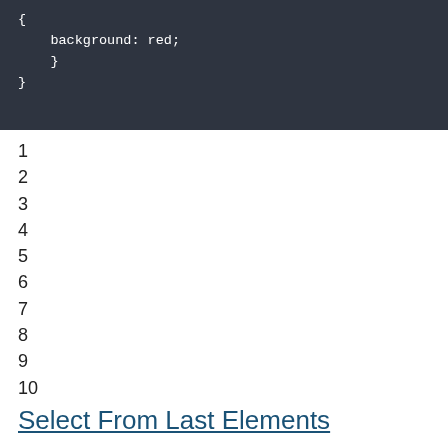[Figure (screenshot): Dark-themed code editor screenshot showing CSS code with lines: '{', '    background: red;', '    }', '}']
1
2
3
4
5
6
7
8
9
10
Select From Last Elements